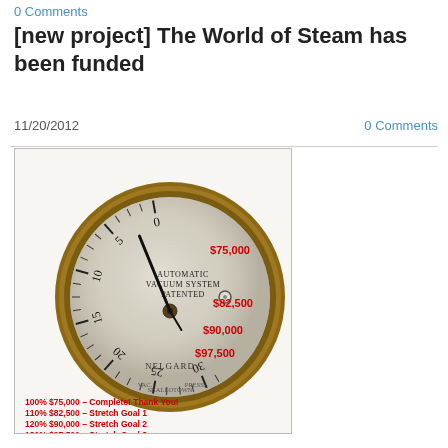0 Comments
[new project] The World of Steam has been funded
11/20/2012
0 Comments
[Figure (illustration): A vintage pressure gauge (Automatic Vacuum System Patented, Nelgard brand) with scale 0-30, with a needle pointing near the 20-25 range. Red text overlaid on gauge face shows dollar amounts: $75,000, $82,500, $90,000, $97,500 at corresponding scale positions.]
100% $75,000 - Complete! Thank You!
110% $82,500 - Stretch Goal 1
120% $90,000 - Stretch Goal 2
130% $97,500 - Stretch Goal 3